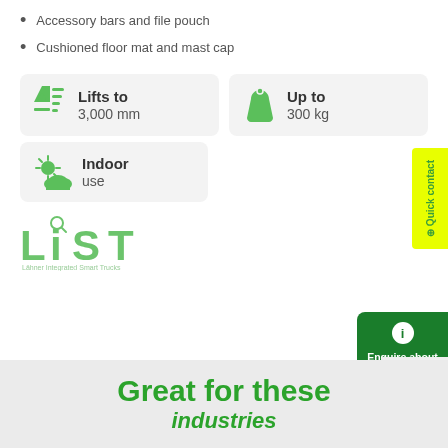Accessory bars and file pouch
Cushioned floor mat and mast cap
[Figure (infographic): Green lift height icon with upward arrow and stacked lines, card showing Lifts to 3,000 mm]
[Figure (infographic): Green weight/load icon, card showing Up to 300 kg]
[Figure (infographic): Green indoor/outdoor weather icon, card showing Indoor use]
[Figure (logo): LiST (Lähner Integrated Smart Trucks) logo in green]
[Figure (infographic): Quick contact yellow sidebar tab]
[Figure (infographic): Enquire about this machine green button with info icon]
Privacy · Terms
Great for these industries